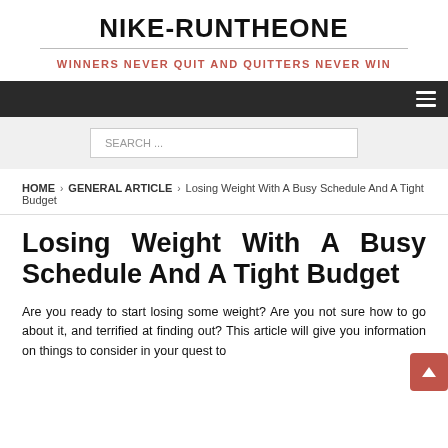NIKE-RUNTHEONE
WINNERS NEVER QUIT AND QUITTERS NEVER WIN
SEARCH ...
HOME › GENERAL ARTICLE › Losing Weight With A Busy Schedule And A Tight Budget
Losing Weight With A Busy Schedule And A Tight Budget
Are you ready to start losing some weight? Are you not sure how to go about it, and terrified at finding out? This article will give you information on things to consider in your quest to